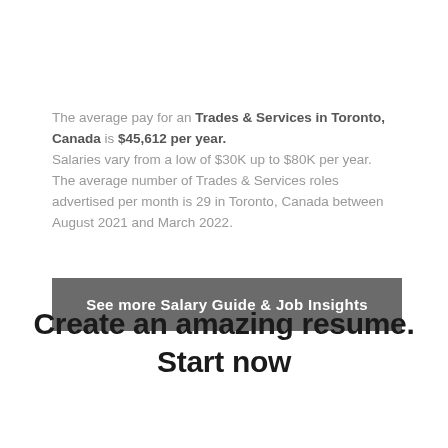The average pay for an Trades & Services in Toronto, Canada is $45,612 per year. Salaries vary from a low of $30K up to $80K per year. The average number of Trades & Services roles advertised per month is 29 in Toronto, Canada between August 2021 and March 2022.
See more Salary Guide & Job Insights
Create an amazing resume. Start now